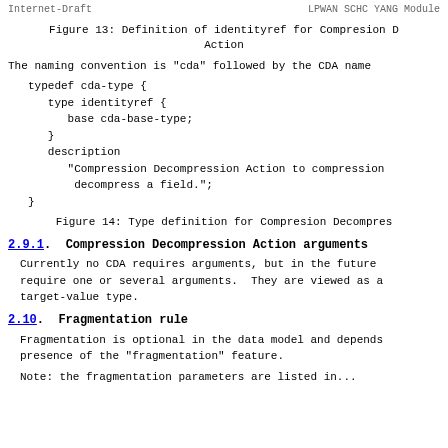Internet-Draft          LPWAN SCHC YANG Module
Figure 13: Definition of identityref for Compresion Decompression Action
The naming convention is "cda" followed by the CDA name
typedef cda-type {
   type identityref {
      base cda-base-type;
   }
   description
      "Compression Decompression Action to compression
       decompress a field.";
}
Figure 14: Type definition for Compresion Decompression
2.9.1.  Compression Decompression Action arguments
Currently no CDA requires arguments, but in the future require one or several arguments.  They are viewed as a target-value type.
2.10.  Fragmentation rule
Fragmentation is optional in the data model and depends presence of the "fragmentation" feature.
Note: the fragmentation parameters are listed in...